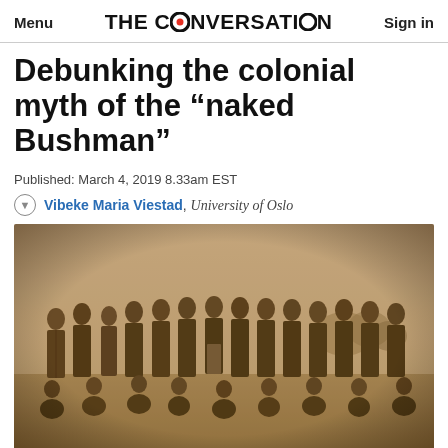Menu | THE CONVERSATION | Sign in
Debunking the colonial myth of the “naked Bushman”
Published: March 4, 2019 8.33am EST
Vibeke Maria Viestad, University of Oslo
[Figure (photo): Historical sepia-toned photograph of a group of people standing and sitting outdoors in an arid landscape, associated with the article about colonial myths.]